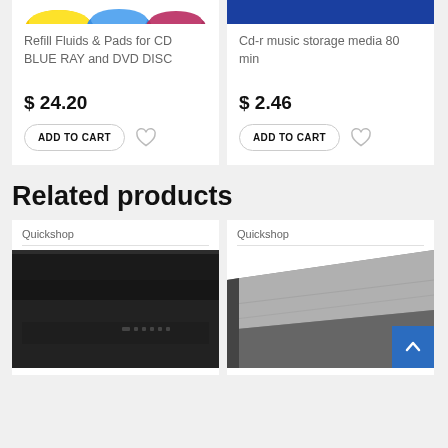[Figure (photo): Partial top of product card showing colorful refill fluids and pads (yellow, blue, pink) for CD, Blu-ray and DVD disc]
Refill Fluids & Pads for CD BLUE RAY and DVD DISC
$ 24.20
ADD TO CART
[Figure (photo): Partial top of product card showing CD-r music storage media with dark blue background]
Cd-r music storage media 80 min
$ 2.46
ADD TO CART
Related products
Quickshop
[Figure (photo): Black electronic audio/CD player device shown from front angle]
Quickshop
[Figure (photo): Gray metallic electronic device (CD/disc player) shown at angle with back to top blue button overlay]